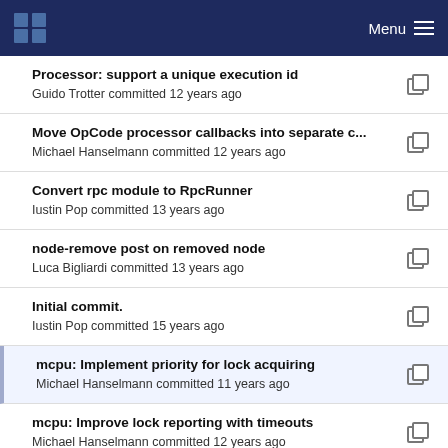Menu
Processor: support a unique execution id
Guido Trotter committed 12 years ago
Move OpCode processor callbacks into separate c...
Michael Hanselmann committed 12 years ago
Convert rpc module to RpcRunner
Iustin Pop committed 13 years ago
node-remove post on removed node
Luca Bigliardi committed 13 years ago
Initial commit.
Iustin Pop committed 15 years ago
mcpu: Implement priority for lock acquiring
Michael Hanselmann committed 11 years ago
mcpu: Improve lock reporting with timeouts
Michael Hanselmann committed 12 years ago